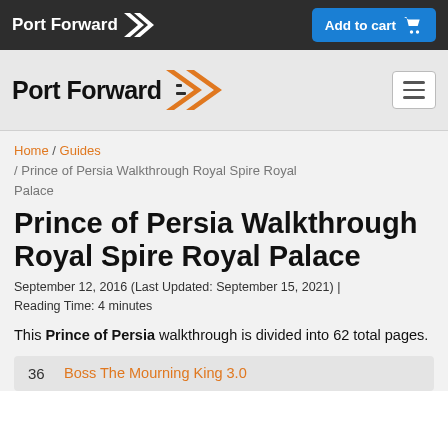Port Forward | Add to cart
[Figure (logo): Port Forward logo with orange chevron arrow on dark nav bar]
[Figure (logo): Port Forward logo large with orange chevron on light gray nav bar with hamburger menu button]
Home / Guides / Prince of Persia Walkthrough Royal Spire Royal Palace
Prince of Persia Walkthrough Royal Spire Royal Palace
September 12, 2016 (Last Updated: September 15, 2021) | Reading Time: 4 minutes
This Prince of Persia walkthrough is divided into 62 total pages.
36  Boss The Mourning King 3.0